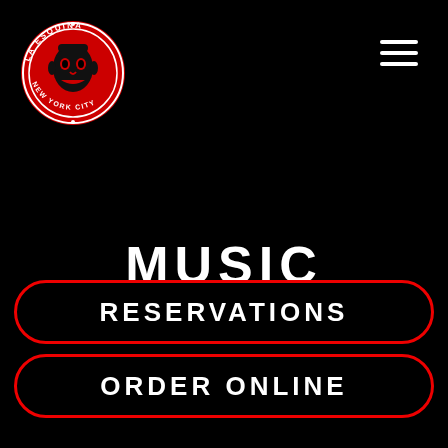[Figure (logo): La Esquina New York City circular logo — red circle with illustrated masked luchador/skull face in white, text around the ring reading 'LA ESQUINA' at top and 'NEW YORK CITY' at bottom]
MUSIC
RESERVATIONS
ORDER ONLINE